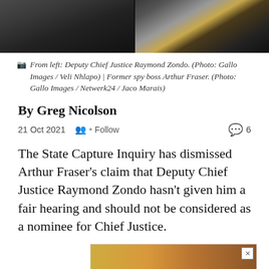[Figure (photo): Two men in suits photographed from chest up — Deputy Chief Justice Raymond Zondo on the left and former spy boss Arthur Fraser on the right wearing a yellow/gold tie.]
From left: Deputy Chief Justice Raymond Zondo. (Photo: Gallo Images / Veli Nhlapo) | Former spy boss Arthur Fraser. (Photo: Gallo Images / Netwerk24 / Jaco Marais)
By Greg Nicolson
21 Oct 2021   Follow   6
The State Capture Inquiry has dismissed Arthur Fraser's claim that Deputy Chief Justice Raymond Zondo hasn't given him a fair hearing and should not be considered as a nominee for Chief Justice.
[Figure (other): Advertisement: Travel forex just got easier with Bidvest Bank. Learn more button. Shows food and a person in background.]